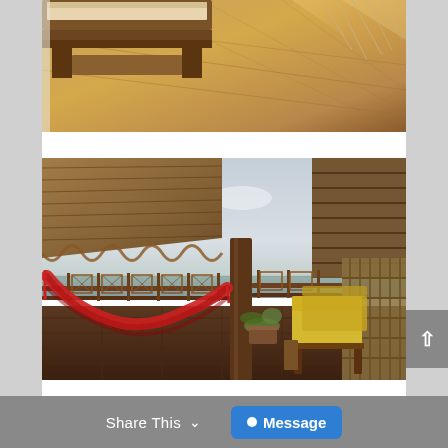[Figure (photo): Partial view of a wooden bedroom interior with hardwood floors, a wooden bed frame visible at top, and what appears to be a hanging structure made of strings or ropes at the top right.]
[Figure (photo): Tropical overwater or beachside bamboo cottage/bungalow terrace/balcony with thatched roof, a bright red hammock hanging between wooden posts, two yellow-cushioned wooden lounge chairs on the right, a small potted plant, wooden railing overlooking the ocean, cloudy sky in the background.]
Share This  ∨   ● Message